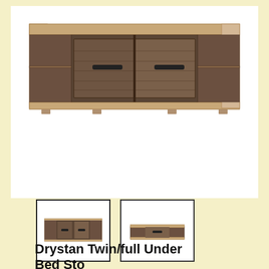[Figure (photo): Main product image of a Drystan Twin/full Under Bed Storage unit — a wide low wooden chest with two drawers in the center and open cubby shelves on each side, shown against a white background.]
[Figure (photo): Thumbnail image 1 (selected/active): small photo of the Drystan under-bed storage unit shown from a slightly elevated front angle.]
[Figure (photo): Thumbnail image 2: small photo of the Drystan under-bed storage unit shown at a different angle.]
Drystan Twin/full Under Bed Sto...